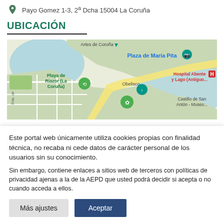Payo Gomez 1-3, 2ª Dcha 15004 La Coruña
UBICACIÓN
[Figure (map): Google Maps view of La Coruña, Spain, showing Plaza de María Pita, Playa de Riazor, Obelisco, Hospital Abente y Lago, Castillo de San Antón - Museo, and Rda. de street labels.]
Este portal web únicamente utiliza cookies propias con finalidad técnica, no recaba ni cede datos de carácter personal de los usuarios sin su conocimiento.
Sin embargo, contiene enlaces a sitios web de terceros con políticas de privacidad ajenas a la de la AEPD que usted podrá decidir si acepta o no cuando acceda a ellos.
Más ajustes
Aceptar